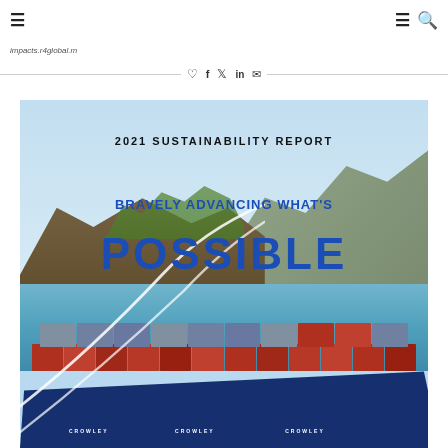≡  [navigation bar]  ≡ 🔍
impacts.r4global.m
♡  f  𝕏  in  ✉
[Figure (photo): Cover image for 2021 Sustainability Report showing a container ship (Crowley branded) passing coastal cliffs with text overlay: '2021 SUSTAINABILITY REPORT — BRAVELY ADVANCING WHAT'S POSSIBLE']